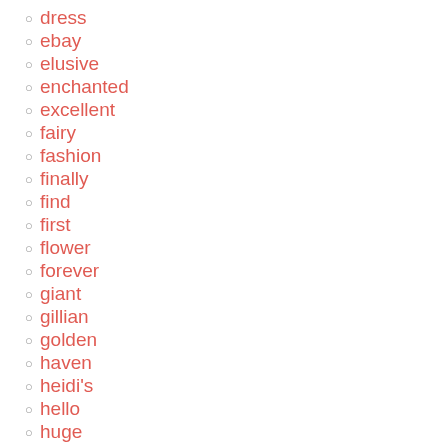dress
ebay
elusive
enchanted
excellent
fairy
fashion
finally
find
first
flower
forever
giant
gillian
golden
haven
heidi's
hello
huge